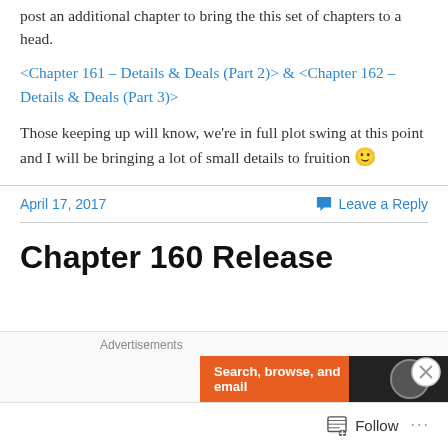post an additional chapter to bring the this set of chapters to a head.
<Chapter 161 – Details & Deals (Part 2)> & <Chapter 162 – Details & Deals (Part 3)>
Those keeping up will know, we're in full plot swing at this point and I will be bringing a lot of small details to fruition 🙂
April 17, 2017
Leave a Reply
Chapter 160 Release
[Figure (screenshot): Advertisements banner with orange background showing 'Search, browse, and email' text and a dark section with a circular logo]
Follow